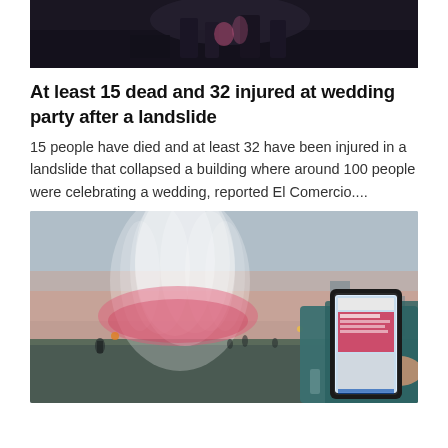[Figure (photo): Dark photo cropped at top showing people at an event, dark background]
At least 15 dead and 32 injured at wedding party after a landslide
15 people have died and at least 32 have been injured in a landslide that collapsed a building where around 100 people were celebrating a wedding, reported El Comercio....
[Figure (photo): Person holding smartphone in foreground with colorful fountain illuminated pink and white in background at dusk, people visible in plaza]